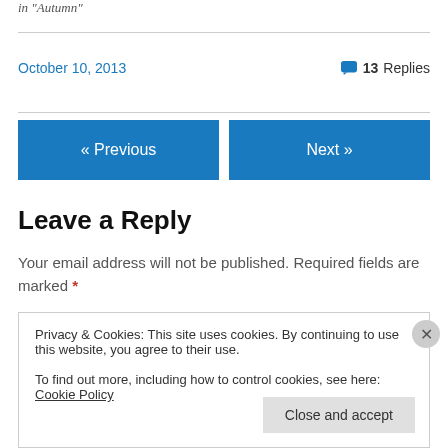in "Autumn"
October 10, 2013
13 Replies
« Previous
Next »
Leave a Reply
Your email address will not be published. Required fields are marked *
Privacy & Cookies: This site uses cookies. By continuing to use this website, you agree to their use.
To find out more, including how to control cookies, see here: Cookie Policy
Close and accept